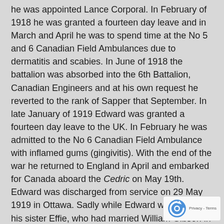he was appointed Lance Corporal. In February of 1918 he was granted a fourteen day leave and in March and April he was to spend time at the No 5 and 6 Canadian Field Ambulances due to dermatitis and scabies. In June of 1918 the battalion was absorbed into the 6th Battalion, Canadian Engineers and at his own request he reverted to the rank of Sapper that September. In late January of 1919 Edward was granted a fourteen day leave to the UK. In February he was admitted to the No 6 Canadian Field Ambulance with inflamed gums (gingivitis). With the end of the war he returned to England in April and embarked for Canada aboard the Cedric on May 19th. Edward was discharged from service on 29 May 1919 in Ottawa. Sadly while Edward was overseas his sister Effie, who had married William Gibson in 1915, had died in October of 1918 in Sudbury of Spanish influenza.
Edward returned to Sudbury and on 22 September he married Annie Carmichael. Born in 1899 in Sudbury,